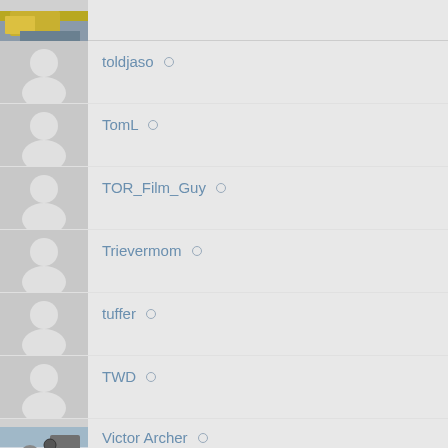toldjaso
TomL
TOR_Film_Guy
Trievermom
tuffer
TWD
Victor Archer